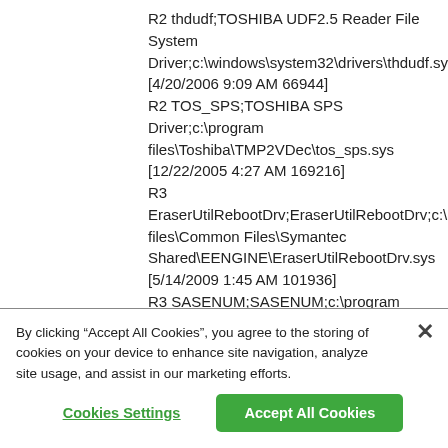R2 thdudf;TOSHIBA UDF2.5 Reader File System Driver;c:\windows\system32\drivers\thdudf.sys [4/20/2006 9:09 AM 66944]
R2 TOS_SPS;TOSHIBA SPS Driver;c:\program files\Toshiba\TMP2VDec\tos_sps.sys [12/22/2005 4:27 AM 169216]
R3 EraserUtilRebootDrv;EraserUtilRebootDrv;c:\program files\Common Files\Symantec Shared\EENGINE\EraserUtilRebootDrv.sys [5/14/2009 1:45 AM 101936]
R3 SASENUM;SASENUM;c:\program files\SUPERAntiSpyware\SASENUM.SYS
By clicking “Accept All Cookies”, you agree to the storing of cookies on your device to enhance site navigation, analyze site usage, and assist in our marketing efforts.
Cookies Settings
Accept All Cookies